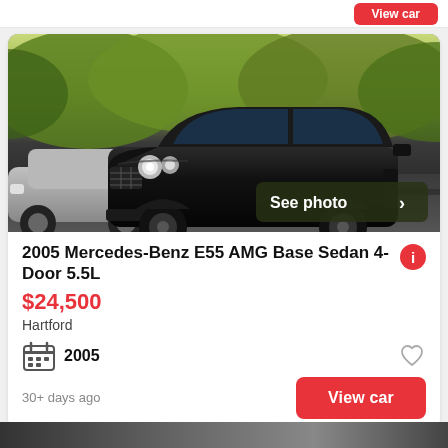[Figure (photo): Black 2005 Mercedes-Benz E55 AMG sedan photographed in a parking lot, front three-quarter view, with green foliage in background. A silver sedan is visible to the left. 'See photo >' button overlay in lower right.]
2005 Mercedes-Benz E55 AMG Base Sedan 4-Door 5.5L
$24,500
Hartford
2005
30+ days ago
View car